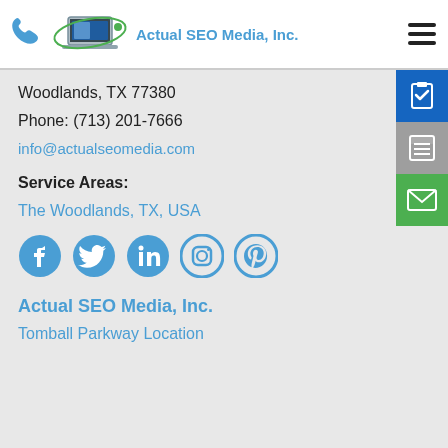Actual SEO Media, Inc.
Woodlands, TX 77380
Phone: (713) 201-7666
info@actualseomedia.com
Service Areas:
The Woodlands, TX, USA
[Figure (other): Social media icons: Facebook, Twitter, LinkedIn, Instagram, Pinterest]
Actual SEO Media, Inc.
Tomball Parkway Location